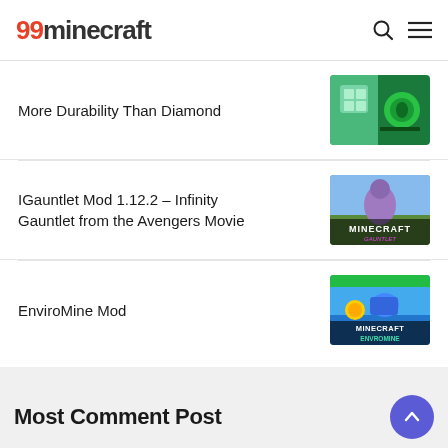99minecraft
More Durability Than Diamond
IGauntlet Mod 1.12.2 – Infinity Gauntlet from the Avengers Movie
EnviroMine Mod
Most Comment Post
[Figure (screenshot): Bottom strip showing partial article thumbnails]